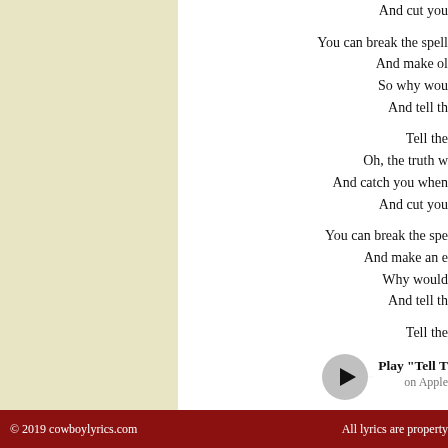And cut you
You can break the spell
And make ol
So why wou
And tell th

Tell the
Oh, the truth w
And catch you when
And cut you

You can break the spe
And make an e
Why would
And tell th

Tell the
[Figure (other): Play button circle with horizontal line, labeled Play Tell T on Apple]
Mize Loga
© 2019 cowboylyrics.com    All lyrics are property